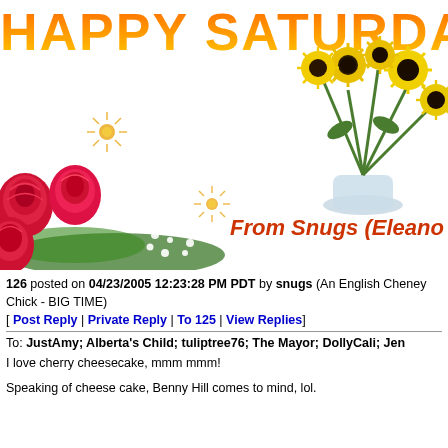HAPPY SATURDAY
[Figure (illustration): Bouquet of sunflowers in a vase, upper right corner]
[Figure (illustration): Sun/star decorative symbols in gold/orange]
[Figure (illustration): Red roses with baby's breath arrangement, lower left]
From Snugs (Eleano
126 posted on 04/23/2005 12:23:28 PM PDT by snugs (An English Cheney Chick - BIG TIME)
[ Post Reply | Private Reply | To 125 | View Replies]
To: JustAmy; Alberta's Child; tuliptree76; The Mayor; DollyCali; Jen
I love cherry cheesecake, mmm mmm!
Speaking of cheese cake, Benny Hill comes to mind, lol.